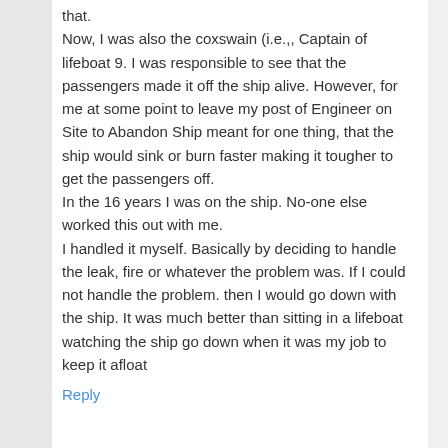that.
Now, I was also the coxswain (i.e.,, Captain of lifeboat 9. I was responsible to see that the passengers made it off the ship alive. However, for me at some point to leave my post of Engineer on Site to Abandon Ship meant for one thing, that the ship would sink or burn faster making it tougher to get the passengers off.
In the 16 years I was on the ship. No-one else worked this out with me.
I handled it myself. Basically by deciding to handle the leak, fire or whatever the problem was. If I could not handle the problem. then I would go down with the ship. It was much better than sitting in a lifeboat watching the ship go down when it was my job to keep it afloat
Reply